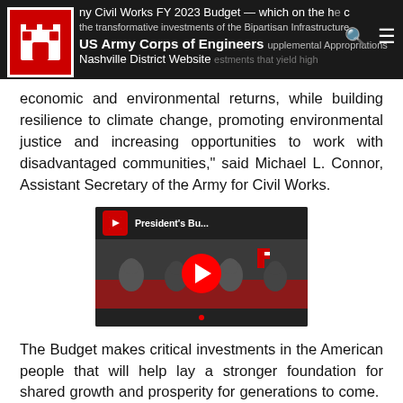US Army Corps of Engineers Nashville District Website
Army Civil Works FY 2023 Budget — which on the heels of the transformative investments of the Bipartisan Infrastructure Law, Supplemental Appropriations investments that yield high economic and environmental returns, while building resilience to climate change, promoting environmental justice and increasing opportunities to work with disadvantaged communities," said Michael L. Connor, Assistant Secretary of the Army for Civil Works.
[Figure (screenshot): YouTube video thumbnail showing President's Bu... with Army Corps logo and red play button]
The Budget makes critical investments in the American people that will help lay a stronger foundation for shared growth and prosperity for generations to come.  At the Army Corps of Engineers Civil Works, the Budget would: